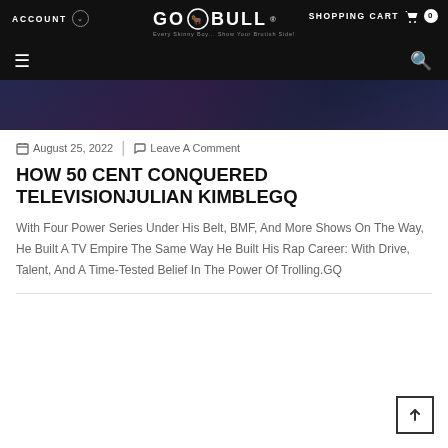ACCOUNT  SHOPPING CART 0  GO BULL
[Figure (photo): Partial hero image showing dramatic scene with dark blue and purple tones]
August 25, 2022  |  Leave A Comment
HOW 50 CENT CONQUERED TELEVISIONJULIAN KIMBLEGQ
With Four Power Series Under His Belt, BMF, And More Shows On The Way, He Built A TV Empire The Same Way He Built His Rap Career: With Drive, Talent, And A Time-Tested Belief In The Power Of Trolling.GQ